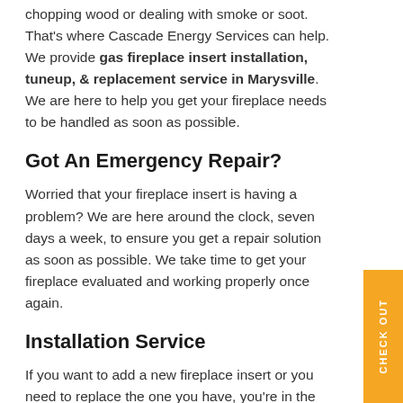chopping wood or dealing with smoke or soot. That's where Cascade Energy Services can help. We provide gas fireplace insert installation, tuneup, & replacement service in Marysville. We are here to help you get your fireplace needs to be handled as soon as possible.
Got An Emergency Repair?
Worried that your fireplace insert is having a problem? We are here around the clock, seven days a week, to ensure you get a repair solution as soon as possible. We take time to get your fireplace evaluated and working properly once again.
Installation Service
If you want to add a new fireplace insert or you need to replace the one you have, you're in the right place. Your technician will come out, measure the area, and discuss your goals. We will review the options and ensure that natural gas is available at the home. This gives you an endless supply of fuel for your home.